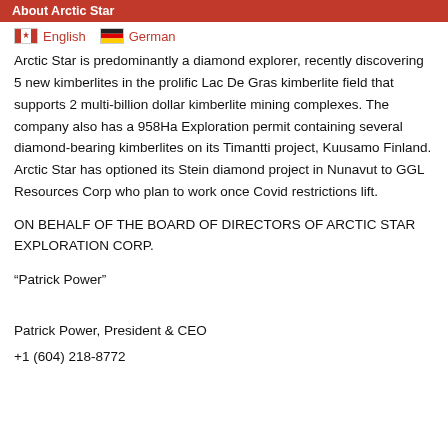About Arctic Star
English   German
Arctic Star is predominantly a diamond explorer, recently discovering 5 new kimberlites in the prolific Lac De Gras kimberlite field that supports 2 multi-billion dollar kimberlite mining complexes. The company also has a 958Ha Exploration permit containing several diamond-bearing kimberlites on its Timantti project, Kuusamo Finland. Arctic Star has optioned its Stein diamond project in Nunavut to GGL Resources Corp who plan to work once Covid restrictions lift.
ON BEHALF OF THE BOARD OF DIRECTORS OF ARCTIC STAR EXPLORATION CORP.
“Patrick Power”
Patrick Power, President & CEO
+1 (604) 218-8772